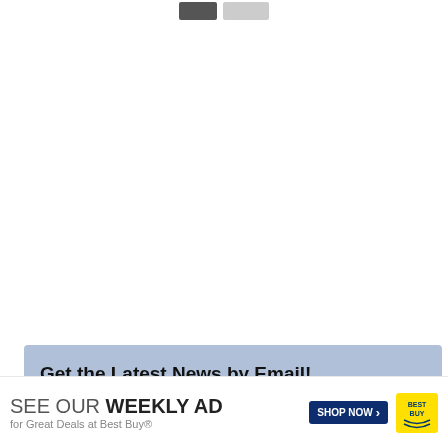[Figure (screenshot): Two small navigation/control buttons at the top center: one dark gray and one light gray]
Get the Latest News by Email!
[Figure (screenshot): Best Buy advertisement banner: 'SEE OUR WEEKLY AD for Great Deals at Best Buy® SHOP NOW' with Best Buy logo]